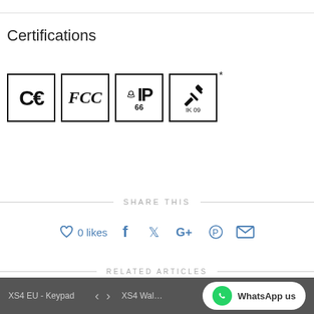Certifications
[Figure (illustration): Four certification logos: CE mark, FCC mark, IP66 rating, and IK09 impact rating with asterisk]
SHARE THIS
♡ 0 likes  f  𝕏  G+  𝕻  ✉
RELATED ARTICLES
XS4 EU - Keypad  <  >  XS4 Wal…  WhatsApp us